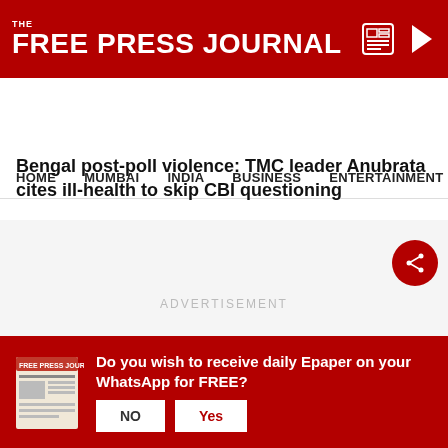THE FREE PRESS JOURNAL
HOME  MUMBAI  INDIA  BUSINESS  ENTERTAINMENT  PHO
Home › India › Bengal post-poll violence: TMC leader Anubrata cites ill-health to skip CBI questioning
Bengal post-poll violence: TMC leader Anubrata cites ill-health to skip CBI questioning
[Figure (other): Advertisement placeholder area with light grey background and 'ADVERTISEMENT' watermark text]
Do you wish to receive daily Epaper on your WhatsApp for FREE?